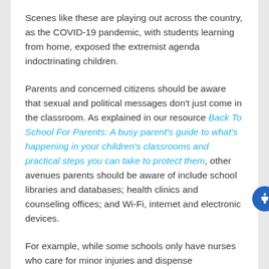Scenes like these are playing out across the country, as the COVID-19 pandemic, with students learning from home, exposed the extremist agenda indoctrinating children.
Parents and concerned citizens should be aware that sexual and political messages don't just come in the classroom. As explained in our resource Back To School For Parents: A busy parent's guide to what's happening in your children's classrooms and practical steps you can take to protect them, other avenues parents should be aware of include school libraries and databases; health clinics and counseling offices; and Wi-Fi, internet and electronic devices.
For example, while some schools only have nurses who care for minor injuries and dispense